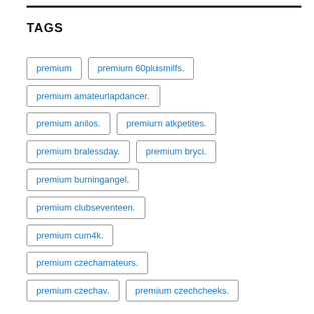TAGS
premium
premium 60plusmilfs.
premium amateurlapdancer.
premium anilos.
premium atkpetites.
premium bralessday.
premium bryci.
premium burningangel.
premium clubseventeen.
premium cum4k.
premium czechamateurs.
premium czechav.
premium czechcheeks.